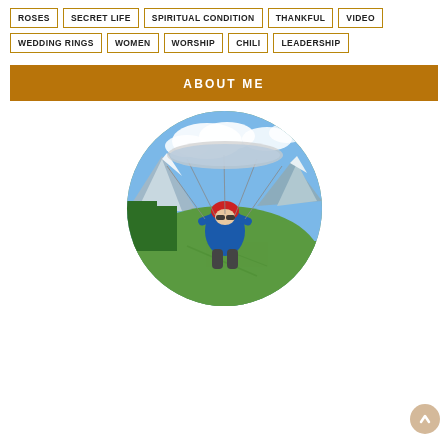ROSES
SECRET LIFE
SPIRITUAL CONDITION
THANKFUL
VIDEO
WEDDING RINGS
WOMEN
WORSHIP
CHILI
LEADERSHIP
ABOUT ME
[Figure (photo): Circular profile photo of a person paragliding over a mountain valley with green fields and snow-capped mountains in the background. The person wears a red helmet and blue jacket.]